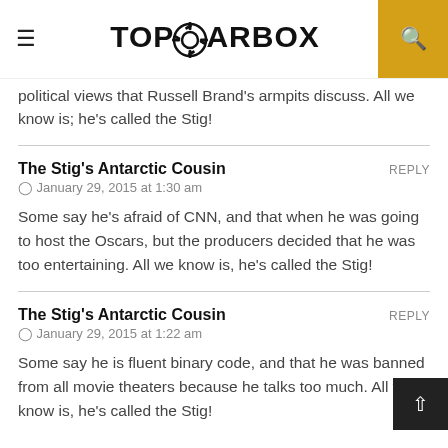TOPGEARBOX
political views that Russell Brand's armpits discuss. All we know is; he's called the Stig!
The Stig's Antarctic Cousin
January 29, 2015 at 1:30 am
Some say he's afraid of CNN, and that when he was going to host the Oscars, but the producers decided that he was too entertaining. All we know is, he's called the Stig!
The Stig's Antarctic Cousin
January 29, 2015 at 1:22 am
Some say he is fluent binary code, and that he was banned from all movie theaters because he talks too much. All we know is, he's called the Stig!